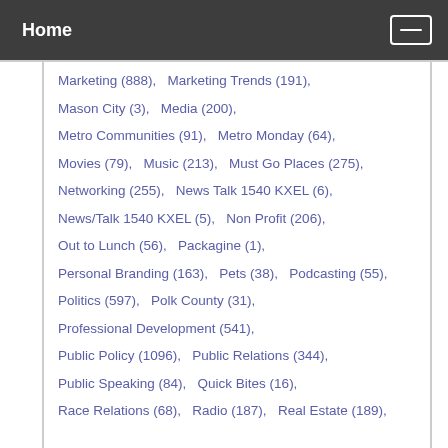Home
Marketing (888),  Marketing Trends (191),
Mason City (3),  Media (200),
Metro Communities (91),  Metro Monday (64),
Movies (79),  Music (213),  Must Go Places (275),
Networking (255),  News Talk 1540 KXEL (6),
News/Talk 1540 KXEL (5),  Non Profit (206),
Out to Lunch (56),  Packagine (1),
Personal Branding (163),  Pets (38),  Podcasting (55),
Politics (597),  Polk County (31),
Professional Development (541),
Public Policy (1096),  Public Relations (344),
Public Speaking (84),  Quick Bites (16),
Race Relations (68),  Radio (187),  Real Estate (189),